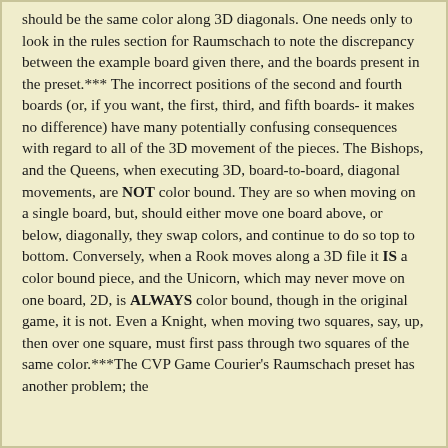should be the same color along 3D diagonals. One needs only to look in the rules section for Raumschach to note the discrepancy between the example board given there, and the boards present in the preset.*** The incorrect positions of the second and fourth boards (or, if you want, the first, third, and fifth boards- it makes no difference) have many potentially confusing consequences with regard to all of the 3D movement of the pieces. The Bishops, and the Queens, when executing 3D, board-to-board, diagonal movements, are NOT color bound. They are so when moving on a single board, but, should either move one board above, or below, diagonally, they swap colors, and continue to do so top to bottom. Conversely, when a Rook moves along a 3D file it IS a color bound piece, and the Unicorn, which may never move on one board, 2D, is ALWAYS color bound, though in the original game, it is not. Even a Knight, when moving two squares, say, up, then over one square, must first pass through two squares of the same color.***The CVP Game Courier's Raumschach preset has another problem; the